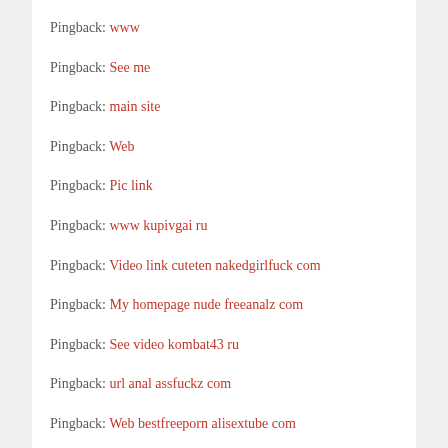Pingback: www
Pingback: See me
Pingback: main site
Pingback: Web
Pingback: Pic link
Pingback: www kupivgai ru
Pingback: Video link cuteten nakedgirlfuck com
Pingback: My homepage nude freeanalz com
Pingback: See video kombat43 ru
Pingback: url anal assfuckz com
Pingback: Web bestfreeporn alisextube com
Pingback: Pix link babes alipornx com